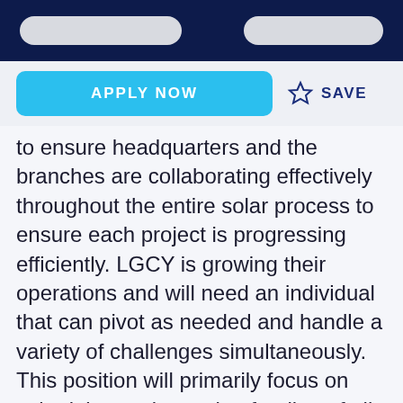APPLY NOW
SAVE
to ensure headquarters and the branches are collaborating effectively throughout the entire solar process to ensure each project is progressing efficiently. LGCY is growing their operations and will need an individual that can pivot as needed and handle a variety of challenges simultaneously. This position will primarily focus on submitting and securing funding of all LGCY solar projects, with the potential to expand into a much broader focus over time. This is an entry level position focused on developing highly motivated individuals into qualified Project Coordinators. Remote and